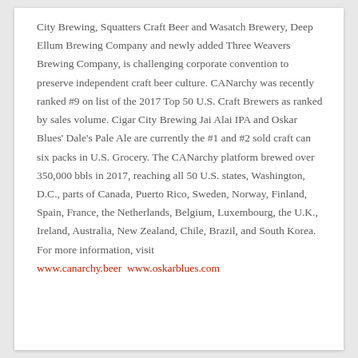City Brewing, Squatters Craft Beer and Wasatch Brewery, Deep Ellum Brewing Company and newly added Three Weavers Brewing Company, is challenging corporate convention to preserve independent craft beer culture. CANarchy was recently ranked #9 on list of the 2017 Top 50 U.S. Craft Brewers as ranked by sales volume. Cigar City Brewing Jai Alai IPA and Oskar Blues' Dale's Pale Ale are currently the #1 and #2 sold craft can six packs in U.S. Grocery. The CANarchy platform brewed over 350,000 bbls in 2017, reaching all 50 U.S. states, Washington, D.C., parts of Canada, Puerto Rico, Sweden, Norway, Finland, Spain, France, the Netherlands, Belgium, Luxembourg, the U.K., Ireland, Australia, New Zealand, Chile, Brazil, and South Korea. For more information, visit www.canarchy.beer  www.oskarblues.com